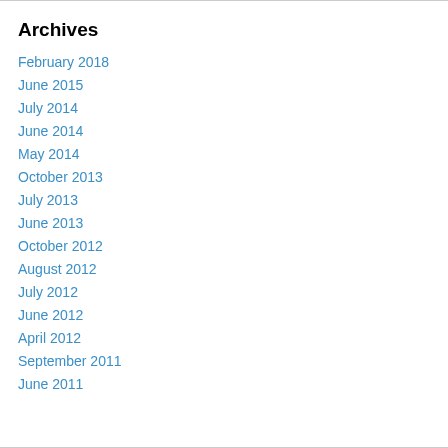Archives
February 2018
June 2015
July 2014
June 2014
May 2014
October 2013
July 2013
June 2013
October 2012
August 2012
July 2012
June 2012
April 2012
September 2011
June 2011